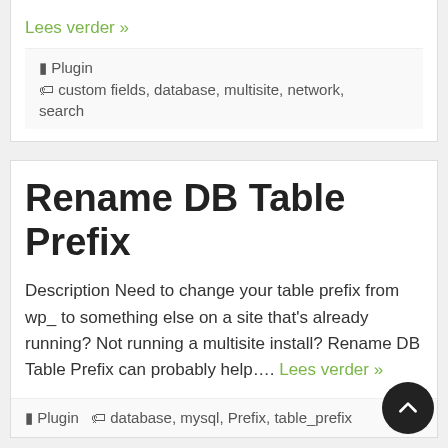Lees verder »
Plugin  custom fields, database, multisite, network, search
Rename DB Table Prefix
Description Need to change your table prefix from wp_ to something else on a site that's already running? Not running a multisite install? Rename DB Table Prefix can probably help.... Lees verder »
Plugin  database, mysql, Prefix, table_prefix
Old Tracking DB for cforms...